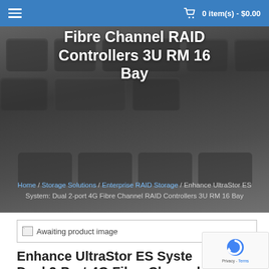0 item(s) - $0.00
[Figure (photo): Close-up photo of dark keyboard keys used as hero banner background]
Fibre Channel RAID Controllers 3U RM 16 Bay
Home / Storage Solutions / Enterprise RAID Storage / Enhance UltraStor ES System: Dual 2-port 4G Fibre Channel RAID Controllers 3U RM 16 Bay
[Figure (photo): Awaiting product image placeholder]
Enhance UltraStor ES System: Dual 2-Port 4G Fibre Channel